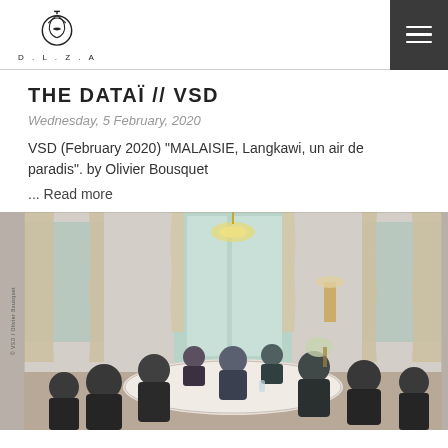D.L.Z.A logo and navigation
THE DATAÏ // VSD
Wednesday, 5 February, 2020
VSD (February 2020) "MALAISIE, Langkawi, un air de paradis". by Olivier Bousquet
... Read more
[Figure (photo): A meeting scene in an elegant room with ornate decor, chandelier, tall curtained windows. Several people in dark suits sit around a round white table. A central figure appears to be speaking, others listen attentively.]